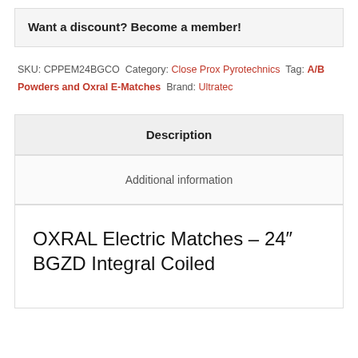Want a discount? Become a member!
SKU: CPPEM24BGCO Category: Close Prox Pyrotechnics Tag: A/B Powders and Oxral E-Matches Brand: Ultratec
Description
Additional information
OXRAL Electric Matches – 24″ BGZD Integral Coiled